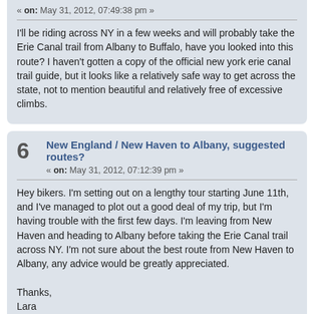« on: May 31, 2012, 07:49:38 pm »
I'll be riding across NY in a few weeks and will probably take the Erie Canal trail from Albany to Buffalo, have you looked into this route? I haven't gotten a copy of the official new york erie canal trail guide, but it looks like a relatively safe way to get across the state, not to mention beautiful and relatively free of excessive climbs.
6
New England / New Haven to Albany, suggested routes?
« on: May 31, 2012, 07:12:39 pm »
Hey bikers. I'm setting out on a lengthy tour starting June 11th, and I've managed to plot out a good deal of my trip, but I'm having trouble with the first few days. I'm leaving from New Haven and heading to Albany before taking the Erie Canal trail across NY. I'm not sure about the best route from New Haven to Albany, any advice would be greatly appreciated.

Thanks,
Lara
Pages: [1]